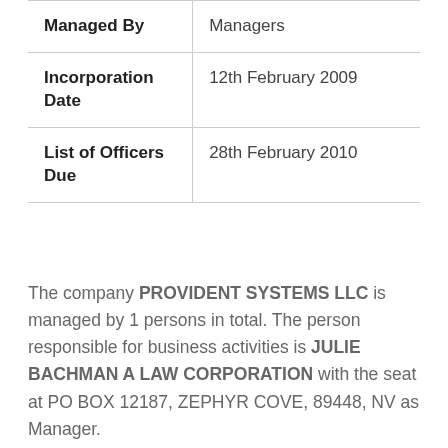| Managed By | Managers |
| Incorporation Date | 12th February 2009 |
| List of Officers Due | 28th February 2010 |
The company PROVIDENT SYSTEMS LLC is managed by 1 persons in total. The person responsible for business activities is JULIE BACHMAN A LAW CORPORATION with the seat at PO BOX 12187, ZEPHYR COVE, 89448, NV as Manager.